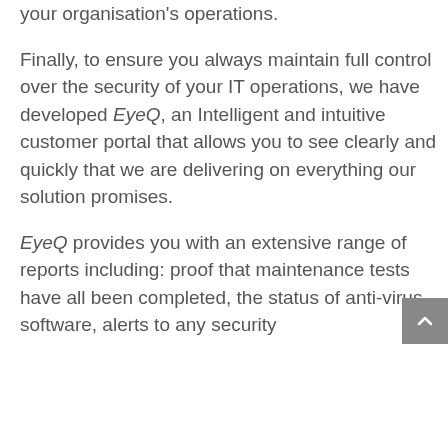your organisation's operations.
Finally, to ensure you always maintain full control over the security of your IT operations, we have developed EyeQ, an Intelligent and intuitive customer portal that allows you to see clearly and quickly that we are delivering on everything our solution promises.
EyeQ provides you with an extensive range of reports including: proof that maintenance tests have all been completed, the status of anti-virus software, alerts to any security